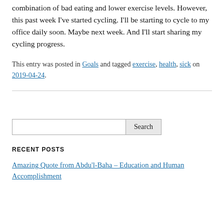combination of bad eating and lower exercise levels. However, this past week I've started cycling. I'll be starting to cycle to my office daily soon. Maybe next week. And I'll start sharing my cycling progress.
This entry was posted in Goals and tagged exercise, health, sick on 2019-04-24.
RECENT POSTS
Amazing Quote from Abdu'l-Baha – Education and Human Accomplishment